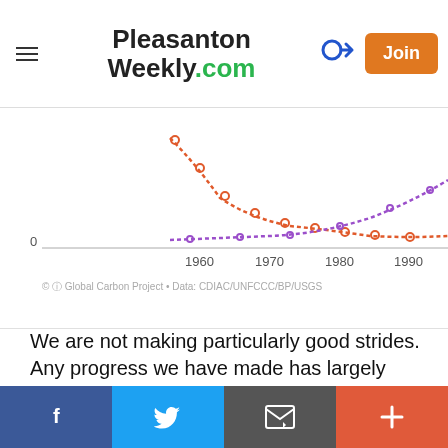Pleasanton Weekly.com
[Figure (continuous-plot): Partial view of a line chart showing data from approximately 1960 to 2010+. Two dashed/dotted lines in orange/red and purple trend upward over time. Y-axis shows 0 at bottom. X-axis labels: 1960, 1970, 1980, 1990, 2000, 2010. Attribution: Global Carbon Project • Data: CDIAC/UNFCCC/BP/USGS]
We are not making particularly good strides. Any progress we have made has largely stopped the past few years (you can see this curve flattening). (Source: EPA 2018)
[Figure (area-chart): Partial view of U.S. Greenhouse Gas Emissions by Gas chart. Y-axis shows 8,000. A red/salmon colored area chart is partially visible rising from left to right.]
U.S. Greenhouse Gas Emissions by Gas,
f  [Twitter]  [Email]  +